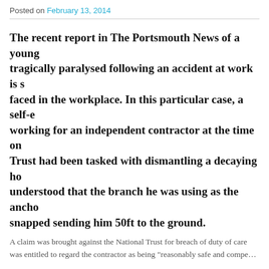Posted on February 13, 2014
The recent report in The Portsmouth News of a young man tragically paralysed following an accident at work is s... faced in the workplace. In this particular case, a self-e... working for an independent contractor at the time on... Trust had been tasked with dismantling a decaying ho... understood that the branch he was using as the ancho... snapped sending him 50ft to the ground.
A claim was brought against the National Trust for breach of duty of care was entitled to regard the contractor as being "reasonably safe and compe...
It is fair to say that even where there is a clear employ... complex issues with regard to proving liability arise an... is in breach of their duty of care can involve detailed a... That said, there is a heavy burden on the employer to... their workers and from a legal point of view, the empl... caused by employees.